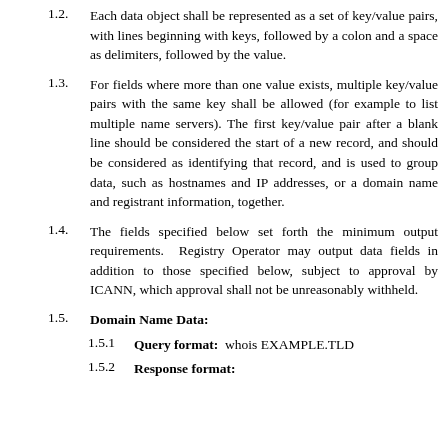1.2. Each data object shall be represented as a set of key/value pairs, with lines beginning with keys, followed by a colon and a space as delimiters, followed by the value.
1.3. For fields where more than one value exists, multiple key/value pairs with the same key shall be allowed (for example to list multiple name servers). The first key/value pair after a blank line should be considered the start of a new record, and should be considered as identifying that record, and is used to group data, such as hostnames and IP addresses, or a domain name and registrant information, together.
1.4. The fields specified below set forth the minimum output requirements.  Registry Operator may output data fields in addition to those specified below, subject to approval by ICANN, which approval shall not be unreasonably withheld.
1.5. Domain Name Data:
1.5.1 Query format:  whois EXAMPLE.TLD
1.5.2 Response format: